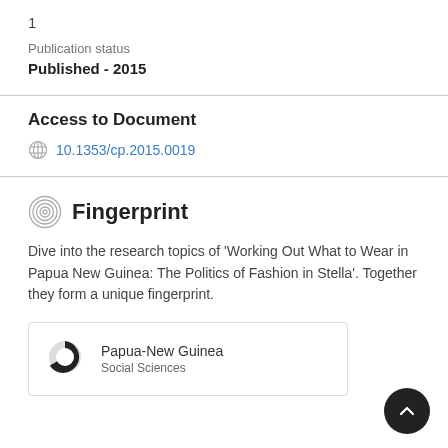1
Publication status
Published - 2015
Access to Document
10.1353/cp.2015.0019
Fingerprint
Dive into the research topics of 'Working Out What to Wear in Papua New Guinea: The Politics of Fashion in Stella'. Together they form a unique fingerprint.
Papua-New Guinea
Social Sciences